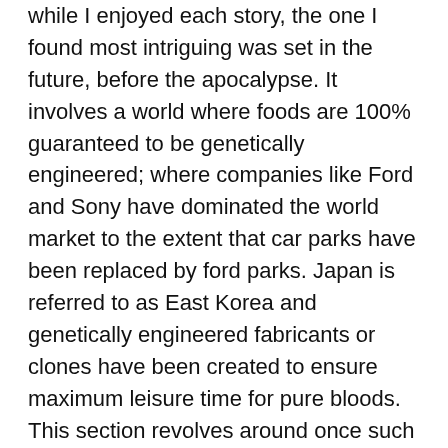while I enjoyed each story, the one I found most intriguing was set in the future, before the apocalypse. It involves a world where foods are 100% guaranteed to be genetically engineered; where companies like Ford and Sony have dominated the world market to the extent that car parks have been replaced by ford parks. Japan is referred to as East Korea and genetically engineered fabricants or clones have been created to ensure maximum leisure time for pure bloods. This section revolves around once such fabricant – Sonmi – 451 as she tells her story from death row.
I can't wait to see the movie, and having watched the trailer (see below) the major theme seems to be better explained, with the links between the people in each story being more clearly observable. As others have suggested, read the book first, as